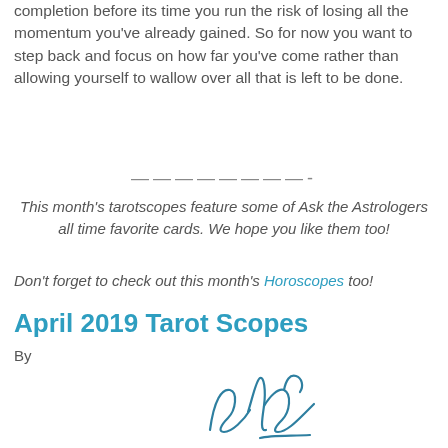completion before its time you run the risk of losing all the momentum you've already gained. So for now you want to step back and focus on how far you've come rather than allowing yourself to wallow over all that is left to be done.
————————-
This month's tarotscopes feature some of Ask the Astrologers all time favorite cards. We hope you like them too!
Don't forget to check out this month's Horoscopes too!
April 2019 Tarot Scopes
By
[Figure (illustration): A handwritten cursive signature in blue ink]